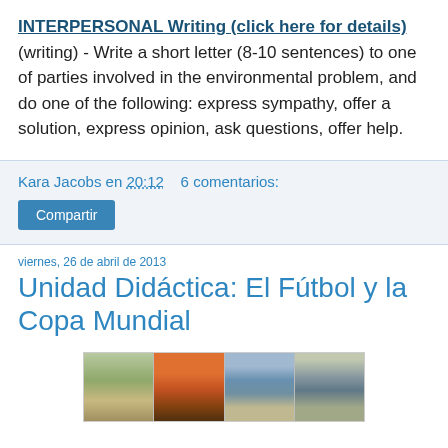INTERPERSONAL Writing (click here for details)(writing) - Write a short letter (8-10 sentences) to one of parties involved in the environmental problem, and do one of the following: express sympathy, offer a solution, express opinion, ask questions, offer help.
Kara Jacobs en 20:12    6 comentarios:
Compartir
viernes, 26 de abril de 2013
Unidad Didáctica: El Fútbol y la Copa Mundial
[Figure (photo): A strip of four stadium aerial/exterior photographs, showing different World Cup stadium venues.]